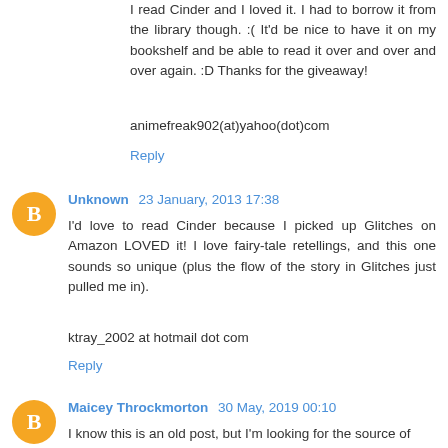I read Cinder and I loved it. I had to borrow it from the library though. :( It'd be nice to have it on my bookshelf and be able to read it over and over and over again. :D Thanks for the giveaway!
animefreak902(at)yahoo(dot)com
Reply
Unknown  23 January, 2013 17:38
I'd love to read Cinder because I picked up Glitches on Amazon LOVED it! I love fairy-tale retellings, and this one sounds so unique (plus the flow of the story in Glitches just pulled me in).
ktray_2002 at hotmail dot com
Reply
Maicey Throckmorton  30 May, 2019 00:10
I know this is an old post, but I'm looking for the source of